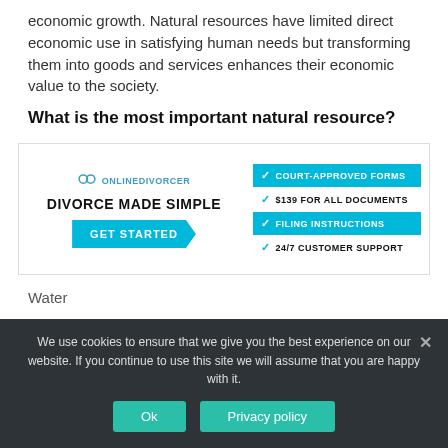economic growth. Natural resources have limited direct economic use in satisfying human needs but transforming them into goods and services enhances their economic value to the society.
What is the most important natural resource?
[Figure (infographic): Advertisement banner for OnlineDivorcer. Left side shows logo with rings icon, text 'ONLINEDIVORCER', bold heading 'DIVORCE MADE SIMPLE', and a cyan 'GET STARTED' arrow button. Right side shows four checklist items: highlighted 'COURT-APPROVED FORMS', plain '$139 FOR ALL DOCUMENTS', highlighted 'FILING INSTRUCTIONS', plain '24/7 CUSTOMER SUPPORT'.]
Water
We use cookies to ensure that we give you the best experience on our website. If you continue to use this site we will assume that you are happy with it.